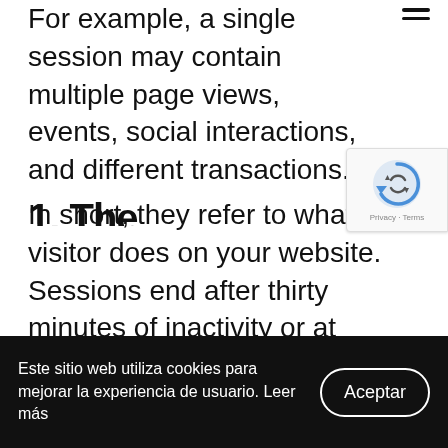For example, a single session may contain multiple page views, events, social interactions, and different transactions.
In short, they refer to what the visitor does on your website. Sessions end after thirty minutes of inactivity or at midnight. In addition, each time a user's campaign source changes, a new session is also started.
[Figure (other): Google reCAPTCHA badge with refresh icon and Privacy · Terms text]
Este sitio web utiliza cookies para mejorar la experiencia de usuario. Leer más